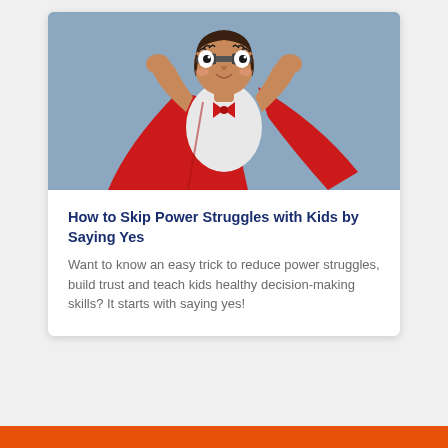[Figure (illustration): Cartoon illustration of a child dressed as a superhero, wearing a grey mask over the eyes, a white t-shirt, and a red cape, flexing both arms against a light blue/grey background.]
How to Skip Power Struggles with Kids by Saying Yes
Want to know an easy trick to reduce power struggles, build trust and teach kids healthy decision-making skills? It starts with saying yes!